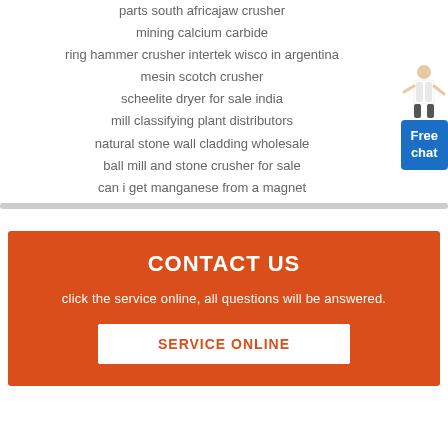parts south africajaw crusher
mining calcium carbide
ring hammer crusher intertek wisco in argentina
mesin scotch crusher
scheelite dryer for sale india
mill classifying plant distributors
natural stone wall cladding wholesale
ball mill and stone crusher for sale
can i get manganese from a magnet
[Figure (illustration): Chat widget with a female figure and a blue 'Free chat' button]
CONTACT US
click the service online, all questions will be answered.
SERVICE ONLINE